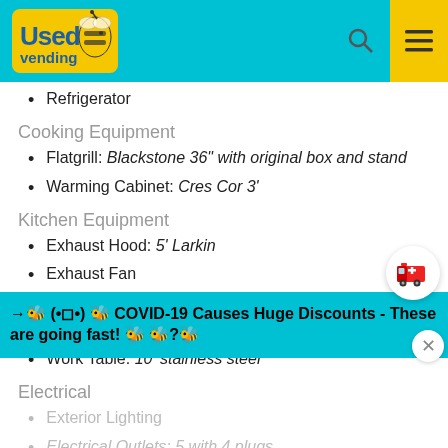Used Vending - navigation header with logo, search and menu icons
Refrigerator
Cooking Equipment
Flatgrill: Blackstone 36" with original box and stand
Warming Cabinet: Cres Cor 3'
Kitchen Equipment
Exhaust Hood: 5' Larkin
Exhaust Fan
Fire Extinguisher: 2 front and rear
Pro Fire Suppression System: Ansul
Work Table: 10' stainless steel
Electrical
Exterior Lighting
Electrical Outlets: 5 with 4 plugs
Breaker Panel
→ 🐝 (•𝅺◻•) 🐝 COVID-19 Causes Huge Discounts - These are going fast! 🐝 𝅺🐝𝅺?🐝